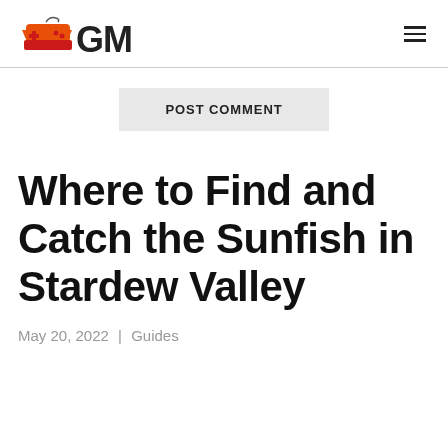GM logo and navigation
POST COMMENT
Where to Find and Catch the Sunfish in Stardew Valley
May 20, 2022 | Guides